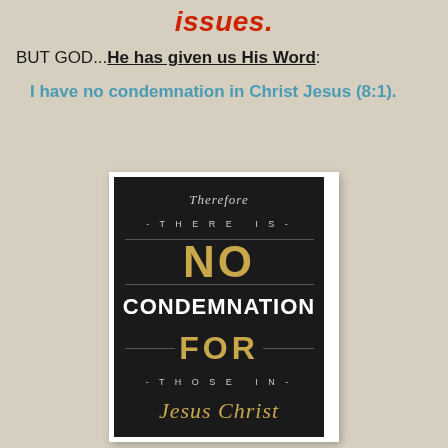issues.
BUT GOD...He has given us His Word:
I have no condemnation in Christ Jesus (8:1).
[Figure (illustration): Dark poster card with text: 'Therefore - THERE IS - NO CONDEMNATION FOR - those in - Jesus Christ'. 'NO' and 'FOR' are in gold/yellow, 'CONDEMNATION' is in white bold caps, 'Therefore' and 'Jesus Christ' are in gold italic script, 'THERE IS' and 'those in' are in small grey spaced caps. Background is near-black with white border framing.]